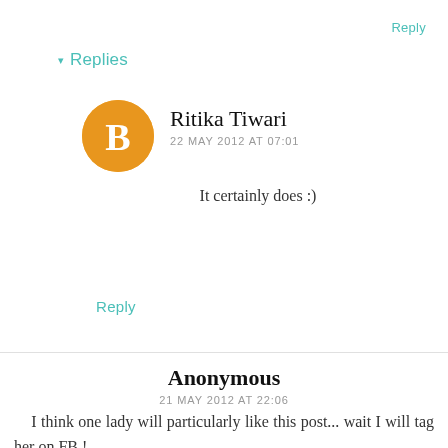Reply
▾ Replies
Ritika Tiwari
22 MAY 2012 AT 07:01
It certainly does :)
Reply
Anonymous
21 MAY 2012 AT 22:06
I think one lady will particularly like this post... wait I will tag her on FB !
Reply
▾ Replies
Ritika Tiwari
22 MAY 2012 AT 07:02